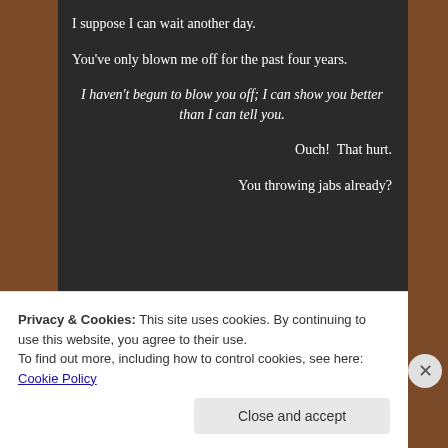I suppose I can wait another day.
You've only blown me off for the past four years.
I haven't begun to blow you off; I can show you better than I can tell you.
Ouch!  That hurt.
You throwing jabs already?
Privacy & Cookies: This site uses cookies. By continuing to use this website, you agree to their use. To find out more, including how to control cookies, see here: Cookie Policy
Close and accept